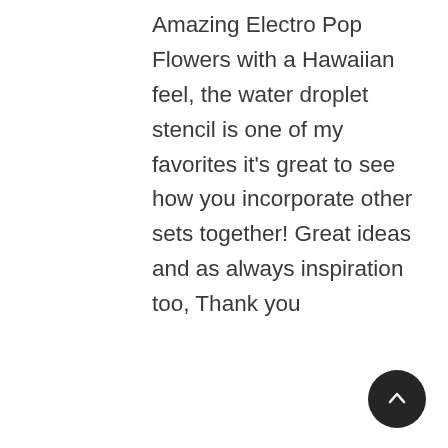Amazing Electro Pop Flowers with a Hawaiian feel, the water droplet stencil is one of my favorites it's great to see how you incorporate other sets together! Great ideas and as always inspiration too, Thank you
Reply →
[Figure (photo): Partial circular avatar photo showing top of a person's head with dark hair]
76 Comments